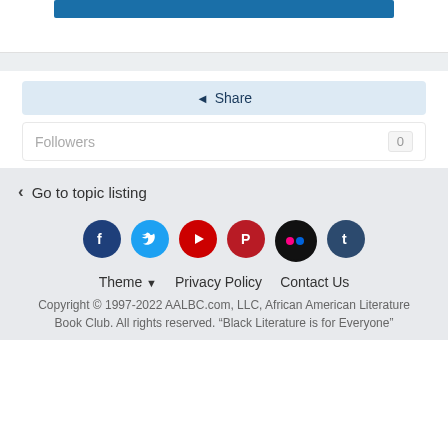[Figure (screenshot): Blue button bar at the top of the content area]
Share
Followers  0
< Go to topic listing
[Figure (infographic): Social media icons: Facebook, Twitter, YouTube, Pinterest, Flickr, Tumblr]
Theme ▼   Privacy Policy   Contact Us
Copyright © 1997-2022 AALBC.com, LLC, African American Literature Book Club. All rights reserved. "Black Literature is for Everyone"